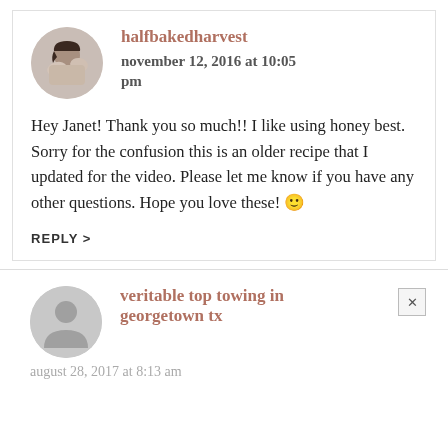[Figure (photo): Circular avatar photo of halfbakedharvest blogger]
halfbakedharvest
november 12, 2016 at 10:05 pm
Hey Janet! Thank you so much!! I like using honey best. Sorry for the confusion this is an older recipe that I updated for the video. Please let me know if you have any other questions. Hope you love these! 🙂
REPLY >
[Figure (illustration): Circular grey default avatar icon]
veritable top towing in georgetown tx
august 28, 2017 at 8:13 am